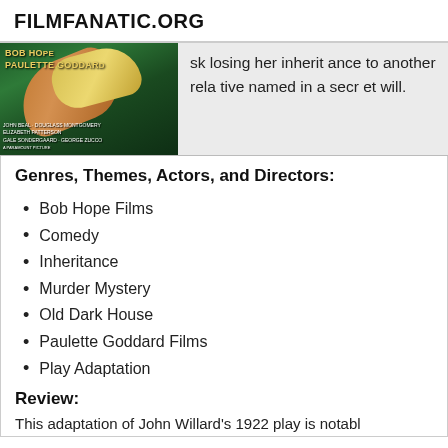FILMFANATIC.ORG
[Figure (photo): Movie poster for a film with Bob Hope and Paulette Goddard, green background with cast names including John Beal, Douglass Montgomery, Elizabeth Patterson, Gale Sondergaard, George Zucco, Paramount Picture]
sk losing her inheritance to another relative named in a secret will.
Genres, Themes, Actors, and Directors:
Bob Hope Films
Comedy
Inheritance
Murder Mystery
Old Dark House
Paulette Goddard Films
Play Adaptation
Review:
This adaptation of John Willard's 1922 play is notabl